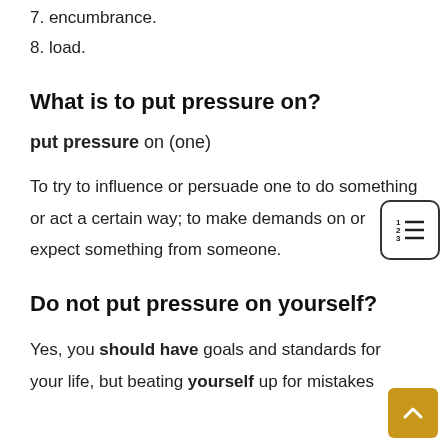7. encumbrance.
8. load.
What is to put pressure on?
put pressure on (one)
To try to influence or persuade one to do something or act a certain way; to make demands on or expect something from someone.
Do not put pressure on yourself?
Yes, you should have goals and standards for your life, but beating yourself up for mistakes